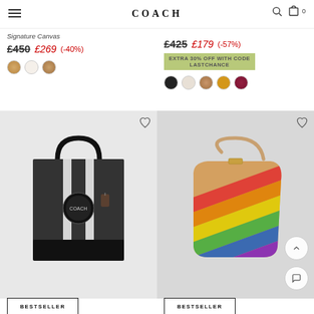COACH
Signature Canvas
£450  £269 (-40%)
£425  £179 (-57%)
EXTRA 30% OFF WITH CODE LASTCHANCE
[Figure (photo): Black Coach tote bag with signature canvas pattern and white stripes, BESTSELLER tag]
[Figure (photo): Coach shoulder bag with rainbow stripe signature canvas pattern, BESTSELLER tag]
BESTSELLER
BESTSELLER